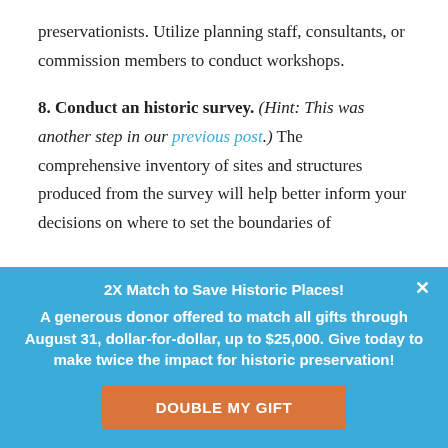preservationists. Utilize planning staff, consultants, or commission members to conduct workshops.
8. Conduct an historic survey. (Hint: This was another step in our previous post.) The comprehensive inventory of sites and structures produced from the survey will help better inform your decisions on where to set the boundaries of
× 2X Match to Save Historic Places! A generous donor offered to match all gifts through August 31, dollar-for-dollar, up to $25,000. Give today to make twice the impact for historic preservation! DOUBLE MY GIFT